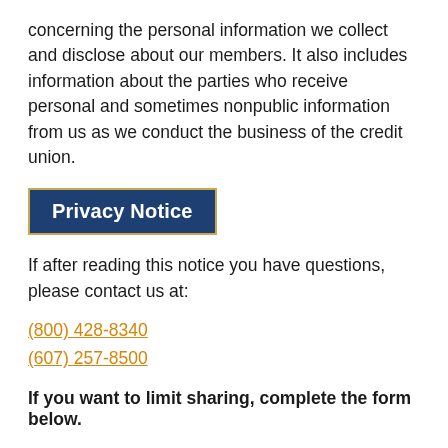concerning the personal information we collect and disclose about our members. It also includes information about the parties who receive personal and sometimes nonpublic information from us as we conduct the business of the credit union.
Privacy Notice
If after reading this notice you have questions, please contact us at:
(800) 428-8340
(607) 257-8500
If you want to limit sharing, complete the form below.